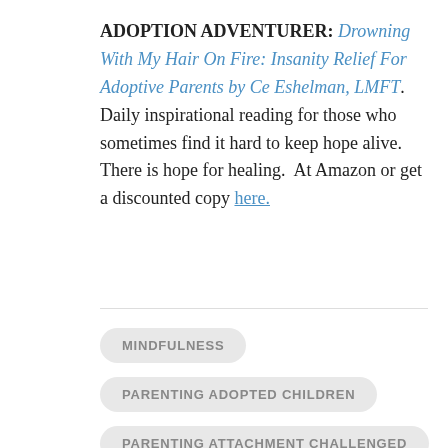ADOPTION ADVENTURER: Drowning With My Hair On Fire: Insanity Relief For Adoptive Parents by Ce Eshelman, LMFT.  Daily inspirational reading for those who sometimes find it hard to keep hope alive. There is hope for healing.  At Amazon or get a discounted copy here.
MINDFULNESS
PARENTING ADOPTED CHILDREN
PARENTING ATTACHMENT CHALLENGED